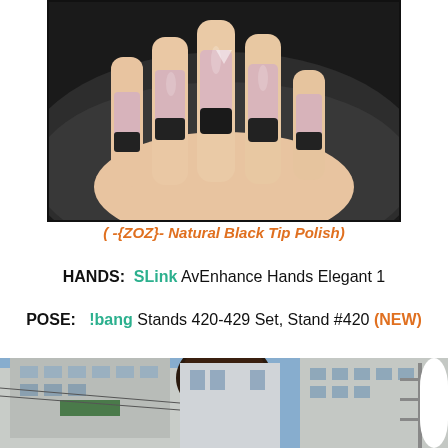[Figure (photo): Close-up photo of a hand with long nails painted in a natural pink/mauve color with black tips (French manicure style), resting on a dark leather surface.]
( -{ZOZ}- Natural Black Tip Polish)
HANDS:  SLink AvEnhance Hands Elegant 1
POSE:   !bang Stands 420-429 Set, Stand #420 (NEW)
[Figure (photo): Bottom portion of an image showing a person with dark hair in an urban street setting with buildings in the background.]